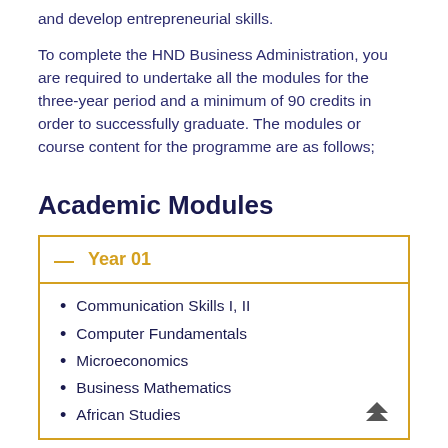and develop entrepreneurial skills.
To complete the HND Business Administration, you are required to undertake all the modules for the three-year period and a minimum of 90 credits in order to successfully graduate. The modules or course content for the programme are as follows;
Academic Modules
Year 01
Communication Skills I, II
Computer Fundamentals
Microeconomics
Business Mathematics
African Studies